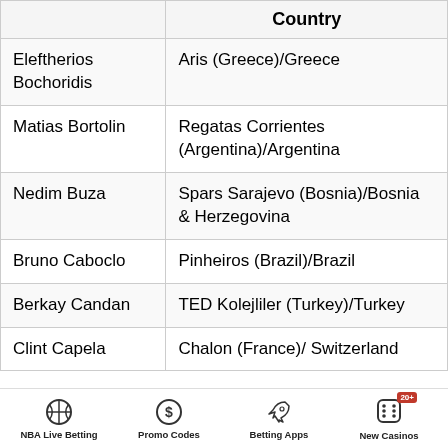|  | Country |
| --- | --- |
| Eleftherios Bochoridis | Aris (Greece)/Greece |
| Matias Bortolin | Regatas Corrientes (Argentina)/Argentina |
| Nedim Buza | Spars Sarajevo (Bosnia)/Bosnia & Herzegovina |
| Bruno Caboclo | Pinheiros (Brazil)/Brazil |
| Berkay Candan | TED Kolejliler (Turkey)/Turkey |
| Clint Capela | Chalon (France)/ Switzerland |
NBA Live Betting | Promo Codes | Betting Apps | New Casinos 20+